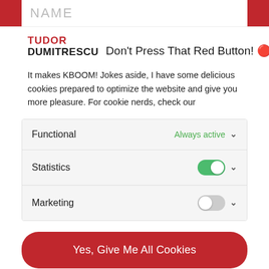NAME
TUDOR DUMITRESCU  Don't Press That Red Button! 🔴
It makes KBOOM! Jokes aside, I have some delicious cookies prepared to optimize the website and give you more pleasure. For cookie nerds, check our
Functional — Always active
Statistics — Toggle on
Marketing — Toggle off
Yes, Give Me All Cookies
Not That Hungry, Just Selected Cookies